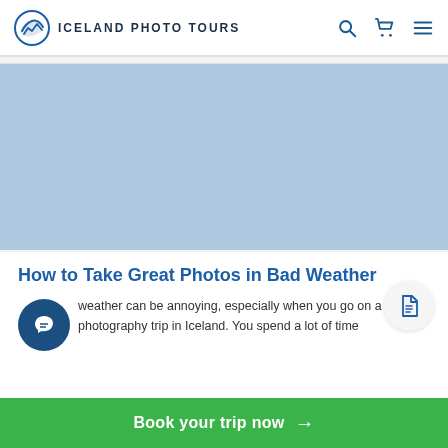ICELAND PHOTO TOURS
[Figure (photo): Light blue placeholder image representing a hero/banner photo for the article about taking photos in bad weather in Iceland]
How to Take Great Photos in Bad Weather
weather can be annoying, especially when you go on a photography trip in Iceland. You spend a lot of time
Book your trip now →